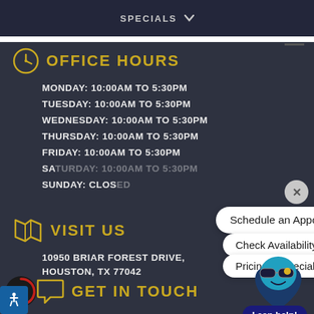SPECIALS
OFFICE HOURS
MONDAY: 10:00AM to 5:30PM
TUESDAY: 10:00AM to 5:30PM
WEDNESDAY: 10:00AM to 5:30PM
THURSDAY: 10:00AM to 5:30PM
FRIDAY: 10:00AM to 5:30PM
SATURDAY: (partially obscured)
SUNDAY: Closed
[Figure (screenshot): Chat popup with buttons: Schedule an Appointment!, Check Availability!, Pricing & Specials, and a close X button]
VISIT US
10950 BRIAR FOREST DRIVE, HOUSTON, TX 77042
[Figure (illustration): Chatbot mascot with sunglasses - 'I can help!' button]
GET IN TOUCH
[Figure (logo): 3D icon circular arrow logo]
[Figure (logo): Accessibility icon - wheelchair symbol]